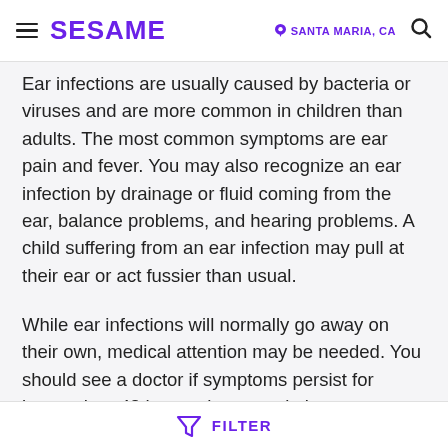SESAME | SANTA MARIA, CA
Ear infections are usually caused by bacteria or viruses and are more common in children than adults. The most common symptoms are ear pain and fever. You may also recognize an ear infection by drainage or fluid coming from the ear, balance problems, and hearing problems. A child suffering from an ear infection may pull at their ear or act fussier than usual.
While ear infections will normally go away on their own, medical attention may be needed. You should see a doctor if symptoms persist for longer than 48 hours, the ear pain is severe, you or your child experiences a fever over 102.2 F, if the child experiencing symptoms is less than 6 months old, or if you notice any discharge coming from the ear. Children who suffer from recurring infections or persistent fluid in the middle ear should
FILTER